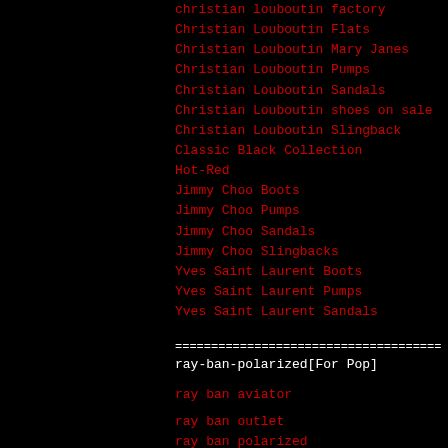christian louboutin factory
Christian Louboutin Flats
Christian Louboutin Mary Janes
Christian Louboutin Pumps
Christian Louboutin Sandals
Christian Louboutin shoes on sale
Christian Louboutin Slingback
Classic Black Collection
Hot-Red
Jimmy Choo Boots
Jimmy Choo Pumps
Jimmy Choo Sandals
Jimmy Choo Slingbacks
Yves Saint Laurent Boots
Yves Saint Laurent Pumps
Yves Saint Laurent Sandals
=====================================
ray-ban-polarized[For Pop]
ray ban aviator
ray ban outlet
ray ban polarized
ray ban polarized sunglasses
ray ban sunglasses
ray ban wayfarer
ray ban 2140
ray ban 2140
ray ban 3029
ray ban 4125
=====================================
Sexy but also casual.